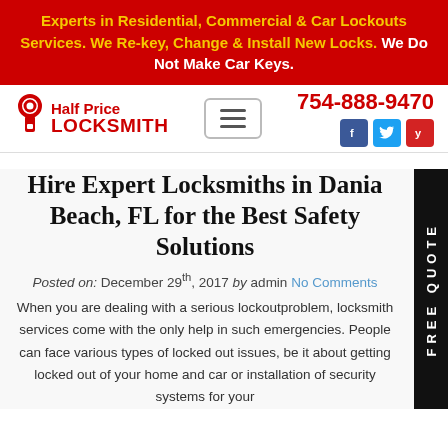Experts in Residential, Commercial & Car Lockouts Services. We Re-key, Change & Install New Locks. We Do Not Make Car Keys.
[Figure (logo): Half Price Locksmith logo with red text and lock icon, hamburger menu icon, phone number 754-888-9470, Facebook, Twitter, and Yelp social icons]
Hire Expert Locksmiths in Dania Beach, FL for the Best Safety Solutions
Posted on: December 29th, 2017 by admin No Comments
When you are dealing with a serious lockoutproblem, locksmith services come with the only help in such emergencies. People can face various types of locked out issues, be it about getting locked out of your home and car or installation of security systems for your